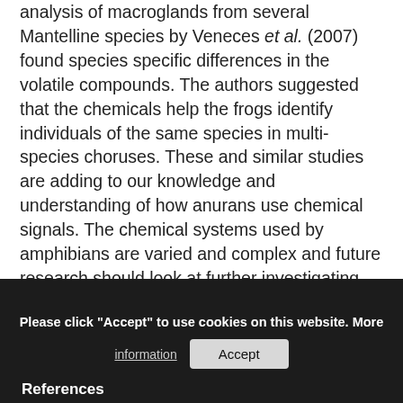analysis of macroglands from several Mantelline species by Veneces et al. (2007) found species specific differences in the volatile compounds. The authors suggested that the chemicals help the frogs identify individuals of the same species in multi-species choruses. These and similar studies are adding to our knowledge and understanding of how anurans use chemical signals. The chemical systems used by amphibians are varied and complex and future research should look at further investigating the use of chemicals in anuran reproduction.
[Figure (screenshot): Cookie consent banner with dark background: 'Please click "Accept" to use cookies on this website. More information' and an Accept button. Below the banner, 'References' heading is visible.]
References